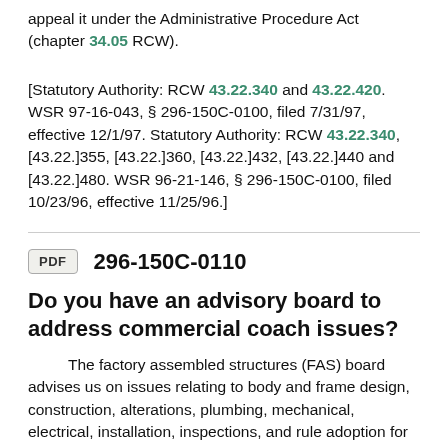appeal it under the Administrative Procedure Act (chapter 34.05 RCW).
[Statutory Authority: RCW 43.22.340 and 43.22.420. WSR 97-16-043, § 296-150C-0100, filed 7/31/97, effective 12/1/97. Statutory Authority: RCW 43.22.340, [43.22.]355, [43.22.]360, [43.22.]432, [43.22.]440 and [43.22.]480. WSR 96-21-146, § 296-150C-0100, filed 10/23/96, effective 11/25/96.]
296-150C-0110
Do you have an advisory board to address commercial coach issues?
The factory assembled structures (FAS) board advises us on issues relating to body and frame design, construction, alterations, plumbing, mechanical, electrical, installation, inspections, and rule adoption for commercial coaches. (See RCW 43.22.420.)